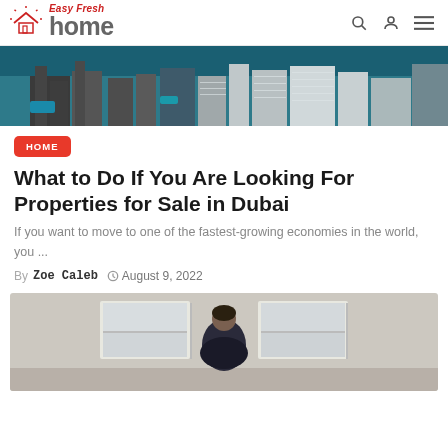Easy Fresh home — navigation header with logo, search, user, and menu icons
[Figure (photo): Aerial view of Dubai cityscape with buildings and waterfront, teal/grey tones]
HOME
What to Do If You Are Looking For Properties for Sale in Dubai
If you want to move to one of the fastest-growing economies in the world, you ...
By Zoe Caleb   August 9, 2022
[Figure (photo): Person sitting indoors at a desk near two windows, wearing dark jacket, interior room setting]